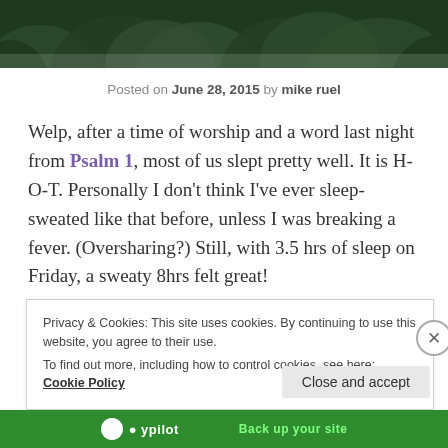[Figure (photo): Dark green forest canopy photo strip at the top of the page]
Posted on June 28, 2015 by mike ruel
Welp, after a time of worship and a word last night from Psalm 1, most of us slept pretty well. It is H-O-T. Personally I don't think I've ever sleep-sweated like that before, unless I was breaking a fever. (Oversharing?) Still, with 3.5 hrs of sleep on Friday, a sweaty 8hrs felt great!
Privacy & Cookies: This site uses cookies. By continuing to use this website, you agree to their use. To find out more, including how to control cookies, see here: Cookie Policy
Close and accept